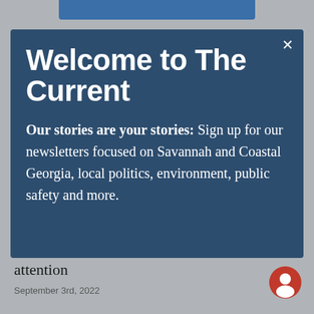[Figure (screenshot): Blue top navigation bar partially visible at top of screen]
Welcome to The Current
Our stories are your stories: Sign up for our newsletters focused on Savannah and Coastal Georgia, local politics, environment, public safety and more.
attention
September 3rd, 2022